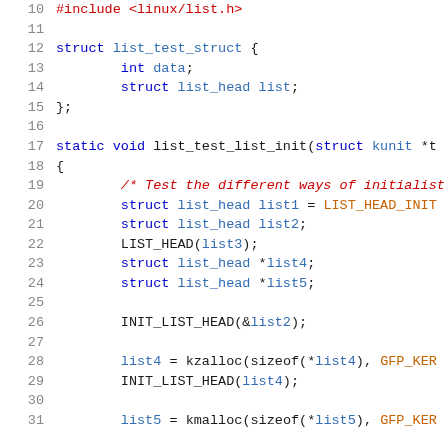Source code snippet showing C kernel list initialization code, lines 10-31
10  #include <linux/list.h>
11  (blank)
12  struct list_test_struct {
13      int data;
14      struct list_head list;
15  };
16  (blank)
17  static void list_test_list_init(struct kunit *t
18  {
19      /* Test the different ways of initialist
20      struct list_head list1 = LIST_HEAD_INIT
21      struct list_head list2;
22      LIST_HEAD(list3);
23      struct list_head *list4;
24      struct list_head *list5;
25  (blank)
26      INIT_LIST_HEAD(&list2);
27  (blank)
28      list4 = kzalloc(sizeof(*list4), GFP_KER
29      INIT_LIST_HEAD(list4);
30  (blank)
31      list5 = kmalloc(sizeof(*list5), GFP_KER